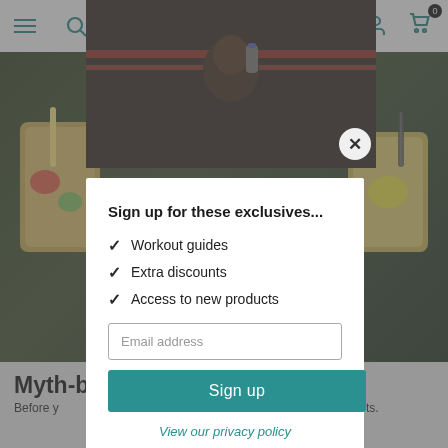[Figure (screenshot): Website screenshot showing navigation bar with menu, search, account and cart icons. Background shows a fitness/health website with an athlete drinking from a bottle and detox drinks. A modal popup overlay is displayed.]
Sign up for these exclusives...
Workout guides
Extra discounts
Access to new products
Email address
Sign up
View our privacy policy
Myth-b... Detox
Before y... m our experts.